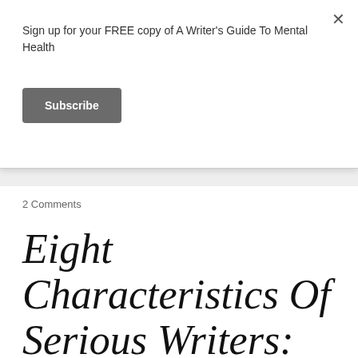Sign up for your FREE copy of A Writer's Guide To Mental Health
Subscribe
2 Comments
Eight Characteristics Of Serious Writers: Resilience